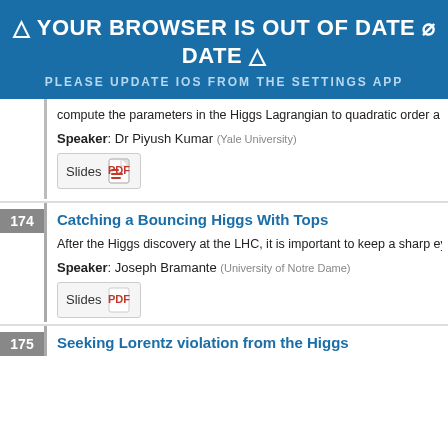[Figure (screenshot): Browser out of date warning banner in blue: YOUR BROWSER IS OUT OF DATE / PLEASE UPDATE IOS FROM THE SETTINGS APP]
compute the parameters in the Higgs Lagrangian to quadratic order a approach allow us to understand the traditional problems plaguing si problems. The methods and results of our work should be useful in co
Speaker: Dr Piyush Kumar (Yale University)
Slides [PDF icon]
174
Catching a Bouncing Higgs With Tops
After the Higgs discovery at the LHC, it is important to keep a sharp ey negative running of the Higgs potential in the UV, the Higgs-top coupli will focus on the two dimension six effective couplings of the Higgs wh simple angular variables will be identified which can improve existing
Speaker: Joseph Bramante (University of Notre Dame)
Slides [PDF icon]
175
Seeking Lorentz violation from the Higgs